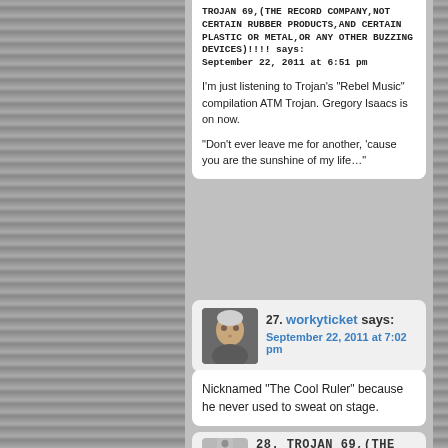TROJAN 69,(THE RECORD COMPANY,NOT CERTAIN RUBBER PRODUCTS,AND CERTAIN PLASTIC OR METAL,OR ANY OTHER BUZZING DEVICES)!!!! says: September 22, 2011 at 6:51 pm
I’m just listening to Trojan’s “Rebel Music” compilation ATM Trojan. Gregory Isaacs is on now.
“Don’t ever leave me for another, ’cause you are the sunshine of my life…”
27. workyticket says: September 22, 2011 at 7:02 pm
Nicknamed “The Cool Ruler” because he never used to sweat on stage.
28. TROJAN 69,(THE RECO...